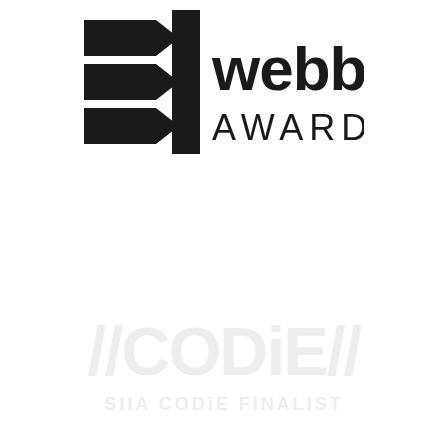[Figure (logo): Webby Awards logo: stylized arrow/chevron mark on left with bold text 'webby AWARDS' on right, dark/black color]
[Figure (logo): //CODiE// SIIA CODiE FINALIST logo in light gray, watermark style]